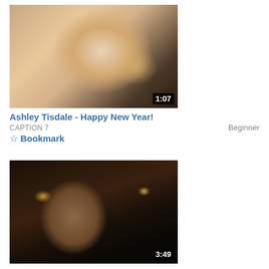[Figure (photo): Video thumbnail showing a young blonde woman lying down, smiling at camera, with duration badge showing 1:07]
Ashley Tisdale - Happy New Year!
CAPTION 7    Beginner
☆ Bookmark
[Figure (photo): Video thumbnail showing a young brown-haired woman in a dark restaurant/bar setting with Christmas lights, duration badge showing 3:49]
Christmas Traditions - In the UK
CAPTION 48, 47    Beginner